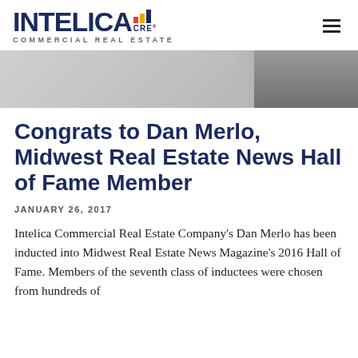INTELICA CRE COMMERCIAL REAL ESTATE
[Figure (photo): Hero banner image showing a partial view of a person in a suit jacket, black and white photo cropped at the top]
Congrats to Dan Merlo, Midwest Real Estate News Hall of Fame Member
JANUARY 26, 2017
Intelica Commercial Real Estate Company's Dan Merlo has been inducted into Midwest Real Estate News Magazine's 2016 Hall of Fame. Members of the seventh class of inductees were chosen from hundreds of